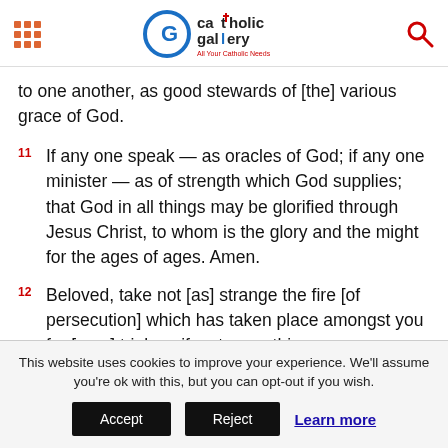Catholic Gallery — All Your Catholic Needs
to one another, as good stewards of [the] various grace of God.
11  If any one speak — as oracles of God; if any one minister — as of strength which God supplies; that God in all things may be glorified through Jesus Christ, to whom is the glory and the might for the ages of ages. Amen.
12  Beloved, take not [as] strange the fire [of persecution] which has taken place amongst you for [your] trial, as if a strange thing was happening to you;
This website uses cookies to improve your experience. We'll assume you're ok with this, but you can opt-out if you wish.